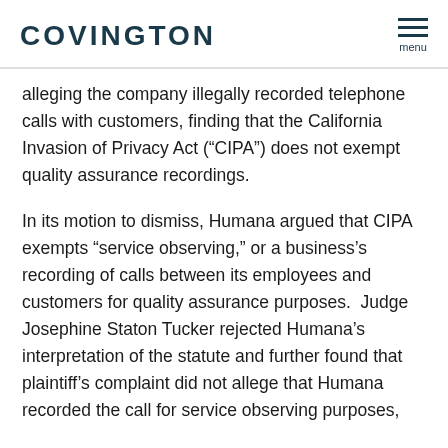COVINGTON
alleging the company illegally recorded telephone calls with customers, finding that the California Invasion of Privacy Act (“CIPA”) does not exempt quality assurance recordings.
In its motion to dismiss, Humana argued that CIPA exempts “service observing,” or a business’s recording of calls between its employees and customers for quality assurance purposes.  Judge Josephine Staton Tucker rejected Humana’s interpretation of the statute and further found that plaintiff’s complaint did not allege that Humana recorded the call for service observing purposes,